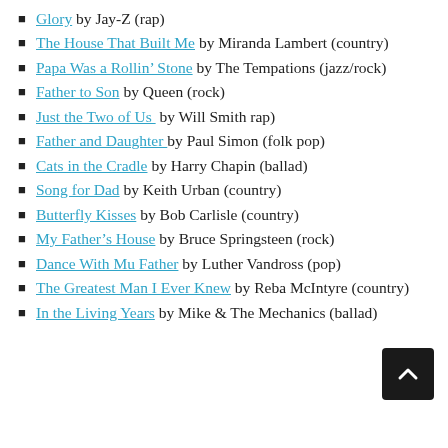Glory by Jay-Z (rap)
The House That Built Me by Miranda Lambert (country)
Papa Was a Rollin' Stone by The Tempations (jazz/rock)
Father to Son by Queen (rock)
Just the Two of Us  by Will Smith rap)
Father and Daughter by Paul Simon (folk pop)
Cats in the Cradle by Harry Chapin (ballad)
Song for Dad by Keith Urban (country)
Butterfly Kisses by Bob Carlisle (country)
My Father's House by Bruce Springsteen (rock)
Dance With Mu Father by Luther Vandross (pop)
The Greatest Man I Ever Knew by Reba McIntyre (country)
In the Living Years by Mike & The Mechanics (ballad)